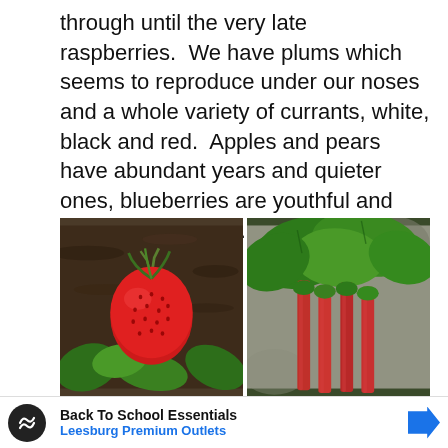through until the very late raspberries.  We have plums which seems to reproduce under our noses and a whole variety of currants, white, black and red.  Apples and pears have abundant years and quieter ones, blueberries are youthful and beginning to thrive.
[Figure (photo): Close-up photo of a ripe red strawberry on a plant with leaves and mulch visible in the background]
[Figure (photo): Photo of rhubarb stalks with large green leaves, arranged side by side showing pink-red stems]
Back To School Essentials  Leesburg Premium Outlets